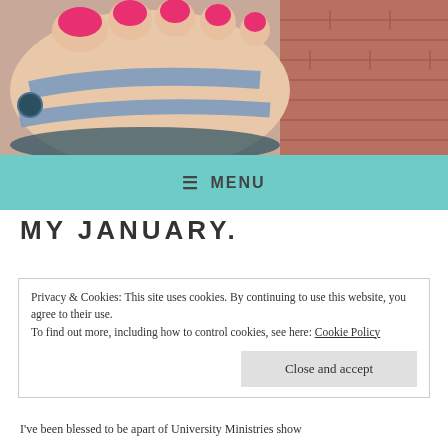[Figure (photo): Close-up photo of feet wearing blue sandals with pink toenail polish, against a brick wall background]
≡ MENU
MY JANUARY.
Privacy & Cookies: This site uses cookies. By continuing to use this website, you agree to their use.
To find out more, including how to control cookies, see here: Cookie Policy
Close and accept
I've been blessed to be apart of University Ministries show